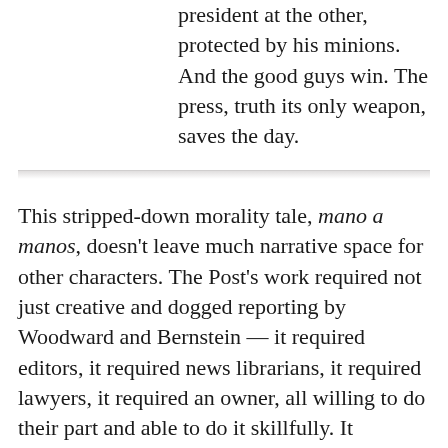president at the other, protected by his minions. And the good guys win. The press, truth its only weapon, saves the day.
This stripped-down morality tale, mano a manos, doesn't leave much narrative space for other characters. The Post's work required not just creative and dogged reporting by Woodward and Bernstein — it required editors, it required news librarians, it required lawyers, it required an owner, all willing to do their part and able to do it skillfully. It required an institution that could both commit the